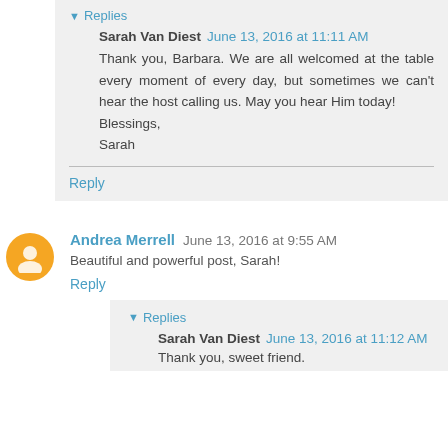Replies
Sarah Van Diest  June 13, 2016 at 11:11 AM
Thank you, Barbara. We are all welcomed at the table every moment of every day, but sometimes we can't hear the host calling us. May you hear Him today!
Blessings,
Sarah
Reply
Andrea Merrell  June 13, 2016 at 9:55 AM
Beautiful and powerful post, Sarah!
Reply
Replies
Sarah Van Diest  June 13, 2016 at 11:12 AM
Thank you, sweet friend.